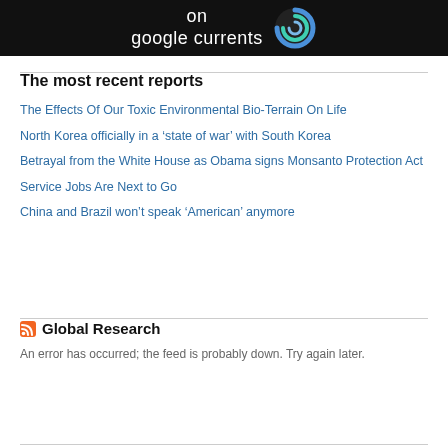[Figure (screenshot): Dark banner image with text 'on google currents' in white and a blue circular logo on the right]
The most recent reports
The Effects Of Our Toxic Environmental Bio-Terrain On Life
North Korea officially in a ‘state of war’ with South Korea
Betrayal from the White House as Obama signs Monsanto Protection Act
Service Jobs Are Next to Go
China and Brazil won’t speak ‘American’ anymore
Global Research
An error has occurred; the feed is probably down. Try again later.